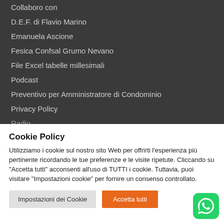Collaboro con
D.E.F. di Flavio Marino
Emanuela Ascione
Fesica Confsal Grumo Nevano
File Excel tabelle millesimali
Podcast
Preventivo per Amministratore di Condominio
Privacy Policy
Radio
Cookie Policy
Utilizziamo i cookie sul nostro sito Web per offrirti l'esperienza più pertinente ricordando le tue preferenze e le visite ripetute. Cliccando su "Accetta tutti" acconsenti all'uso di TUTTI i cookie. Tuttavia, puoi visitare "Impostazioni cookie" per fornire un consenso controllato.
Impostazioni dei Cookie | Accetta tutti